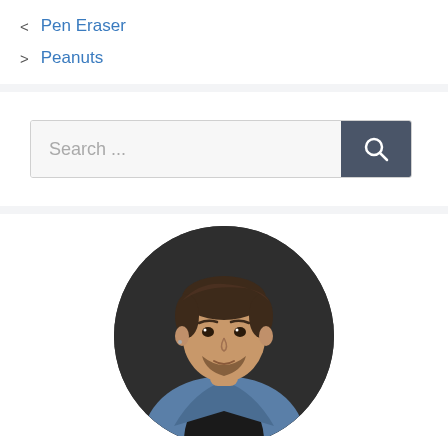< Pen Eraser
> Peanuts
[Figure (other): Search bar with text 'Search ...' and a dark search button with magnifying glass icon]
[Figure (photo): Circular portrait photo of a young man with short brown hair and a beard, wearing a blue denim jacket over a black shirt, photographed against a dark background]